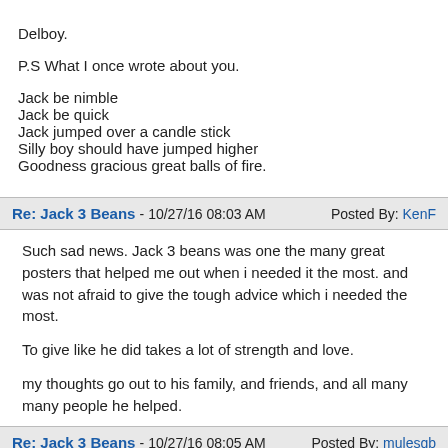Delboy.

P.S What I once wrote about you.

Jack be nimble
Jack be quick
Jack jumped over a candle stick
Silly boy should have jumped higher
Goodness gracious great balls of fire.
Re: Jack 3 Beans - 10/27/16 08:03 AM    Posted By: KenF
Such sad news. Jack 3 beans was one the many great posters that helped me out when i needed it the most. and was not afraid to give the tough advice which i needed the most.

To give like he did takes a lot of strength and love.

my thoughts go out to his family, and friends, and all many many people he helped.
Re: Jack 3 Beans - 10/27/16 08:05 AM    Posted By: mulesqb
Most of my interactions with Jack were on FB Messenger and not on the boards. He reached out to me personally on a number of occasions for some real heart to heart stuff. Things which I still think about to this